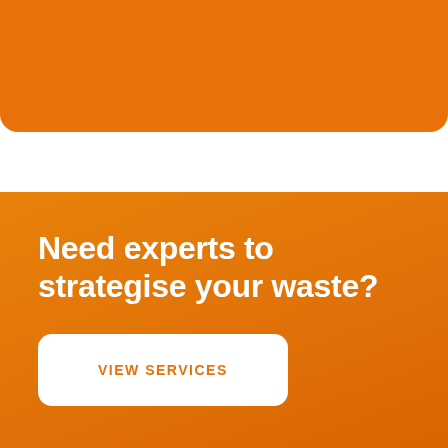[Figure (other): Orange rounded rectangle banner at the top of the page]
Need experts to strategise your waste?
VIEW SERVICES